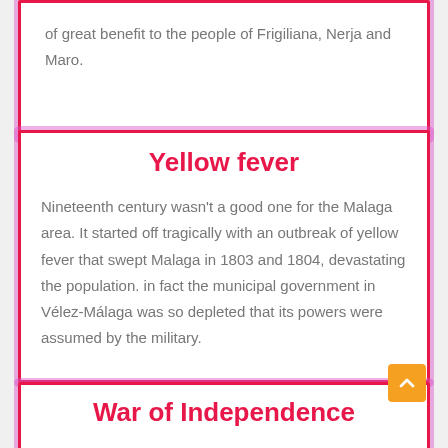of great benefit to the people of Frigiliana, Nerja and Maro.
Yellow fever
Nineteenth century wasn’t a good one for the Malaga area. It started off tragically with an outbreak of yellow fever that swept Malaga in 1803 and 1804, devastating the population. in fact the municipal government in Vélez-Málaga was so depleted that its powers were assumed by the military.
War of Independence